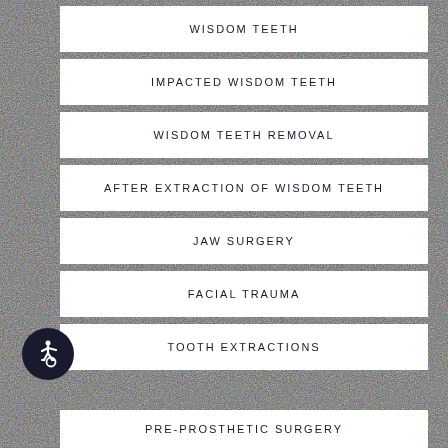WISDOM TEETH
IMPACTED WISDOM TEETH
WISDOM TEETH REMOVAL
AFTER EXTRACTION OF WISDOM TEETH
JAW SURGERY
FACIAL TRAUMA
TOOTH EXTRACTIONS
PRE-PROSTHETIC SURGERY
[Figure (illustration): Wheelchair accessibility icon in a dark circular badge]